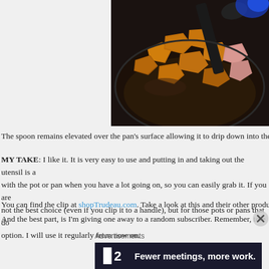[Figure (photo): A frying pan with chunks of chicken or meat cooking in oil on a stovetop, with a black utensil/spoon visible in the pan, blue flame visible in background]
The spoon remains elevated over the pan's surface allowing it to drip down into the p
MY TAKE: I like it. It is very easy to use and putting in and taking out the utensil is a with the pot or pan when you have a lot going on, so you can easily grab it. If you are not the best choice (even if you clip it to a handle), but for those pots or pans that do option. I will use it regularly from now on.
You can find the clip at shopTrudeau.com. Take a look at this and their other products
And the best part, is I'm giving one away to a random subscriber. Remember, to/e
Advertisements
[Figure (other): Advertisement banner: dark background with logo showing two small squares and '2', text reading 'Fewer meetings, more work.']